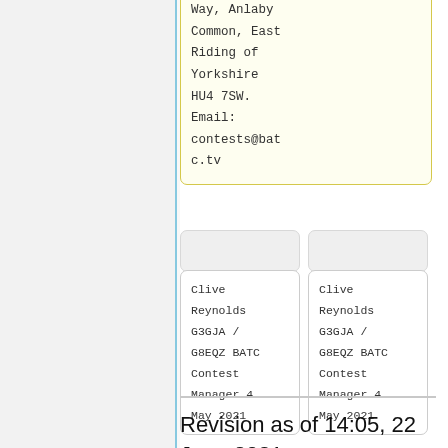Way, Anlaby Common, East Riding of Yorkshire HU4 7SW. Email: contests@batc.tv
Clive Reynolds G3GJA / G8EQZ BATC Contest Manager 4 May 2021
Clive Reynolds G3GJA / G8EQZ BATC Contest Manager 4 May 2021
Revision as of 14:05, 22 June 2021